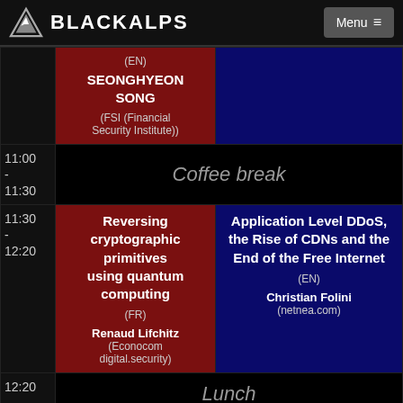BLACKALPS
| Time | Track 1 | Track 2 |
| --- | --- | --- |
|  | (EN)
SEONGHYEON SONG
(FSI (Financial Security Institute)) |  |
| 11:00 - 11:30 | Coffee break |  |
| 11:30 - 12:20 | Reversing cryptographic primitives using quantum computing
(FR)
Renaud Lifchitz
(Econocom digital.security) | Application Level DDoS, the Rise of CDNs and the End of the Free Internet
(EN)
Christian Folini
(netnea.com) |
| 12:20 | Lunch |  |